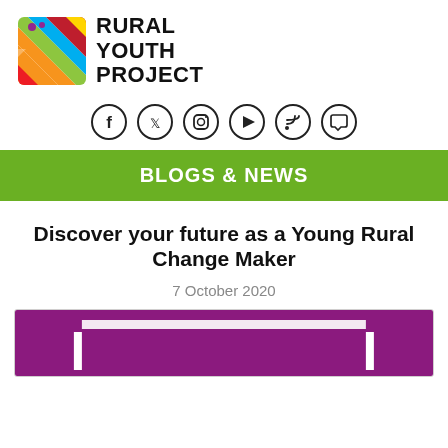[Figure (logo): Rural Youth Project logo with colorful diagonal stripe icon and bold black text reading RURAL YOUTH PROJECT]
[Figure (infographic): Six social media icons in circles: Facebook, Twitter, Instagram, YouTube, RSS, and Chat/Comment]
BLOGS & NEWS
Discover your future as a Young Rural Change Maker
7 October 2020
[Figure (photo): Partial view of a purple/magenta background image with white rectangular frame elements visible at the top edge]